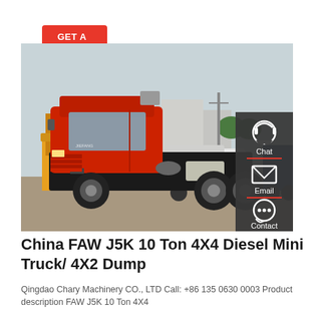GET A QUOTE
[Figure (photo): Red FAW heavy-duty truck tractor parked in a yard with other trucks and machinery in the background. A dark sidebar panel with Chat, Email, and Contact icons overlays the right side of the image.]
China FAW J5K 10 Ton 4X4 Diesel Mini Truck/ 4X2 Dump
Qingdao Chary Machinery CO., LTD Call: +86 135 0630 0003 Product description FAW J5K 10 Ton 4X4